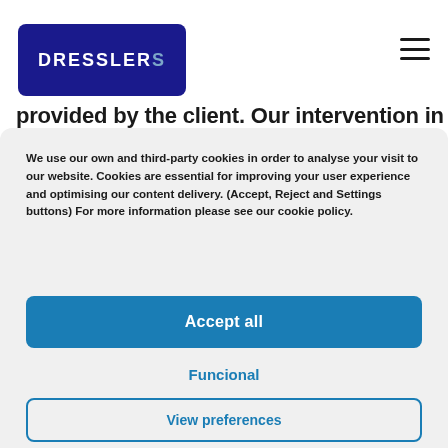[Figure (logo): Dresslers logo — white text on dark blue rounded rectangle background]
provided by the client. Our intervention in the
We use our own and third-party cookies in order to analyse your visit to our website. Cookies are essential for improving your user experience and optimising our content delivery. (Accept, Reject and Settings buttons) For more information please see our cookie policy.
Accept all
Funcional
View preferences
Cookies Policy   Privacy Policy   WEBSITE LEGAL NOTICE